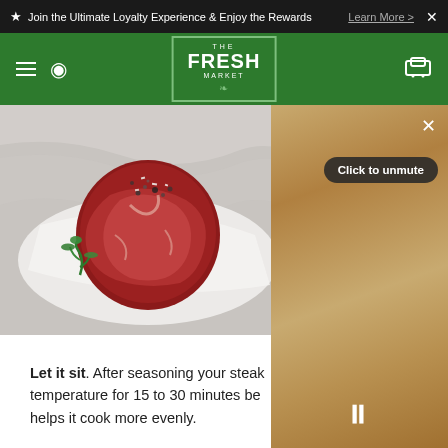★ Join the Ultimate Loyalty Experience & Enjoy the Rewards  Learn More > ✕
[Figure (logo): The Fresh Market logo in white on green navigation bar]
[Figure (photo): Raw filet mignon steak seasoned with salt and pepper on white paper, with fresh herbs, on a marble surface]
[Figure (screenshot): Blurred video panel overlay with X close button, 'Click to unmute' button, and pause control at bottom]
Let it sit. After seasoning your steak, temperature for 15 to 30 minutes be helps it cook more evenly.